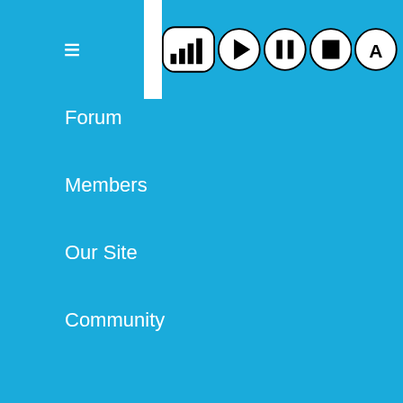Screen Reader [toolbar icons]
Forum
Members
Our Site
Community
Forum Menu
Forum
About Us